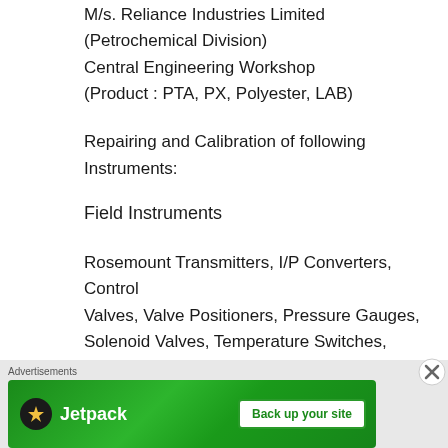M/s. Reliance Industries Limited (Petrochemical Division) Central Engineering Workshop (Product : PTA, PX, Polyester, LAB)
Repairing and Calibration of following Instruments:
Field Instruments
Rosemount Transmitters, I/P Converters, Control Valves, Valve Positioners, Pressure Gauges, Solenoid Valves, Temperature Switches, Level Switches, Pressure Regulators.
Advertisements